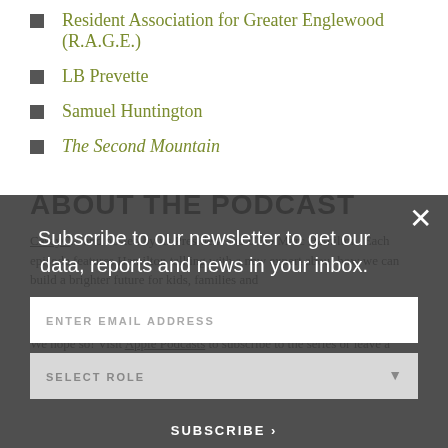Resident Association for Greater Englewood (R.A.G.E.)
LB Prevette
Samuel Huntington
The Second Mountain
ABOUT THE PODCAST
CaseyC... and hosted by its President and CEO Marc Hamilton. Each episode features Hamilton talking with a new expert about how we can build a brighter future for kids, families and
E?
We hope so! Visit Apple Podcasts to subscribe to the series or leave a rating or review.
[Figure (screenshot): Newsletter subscription modal overlay with dark semi-transparent background. Contains text 'Subscribe to our newsletter to get our data, reports and news in your inbox.', an email input field labeled 'ENTER EMAIL ADDRESS', a dropdown labeled 'SELECT ROLE', a close button (X), and a 'SUBSCRIBE >' button.]